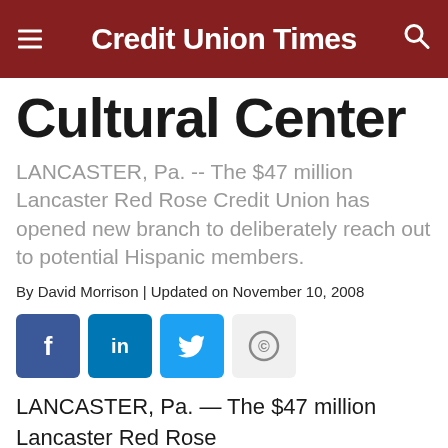Credit Union Times
Cultural Center
LANCASTER, Pa. -- The $47 million Lancaster Red Rose Credit Union has opened new branch to deliberately reach out to potential Hispanic members.
By David Morrison | Updated on November 10, 2008
[Figure (other): Social sharing buttons: Facebook, LinkedIn, Twitter, Copyright]
LANCASTER, Pa. — The $47 million Lancaster Red Rose